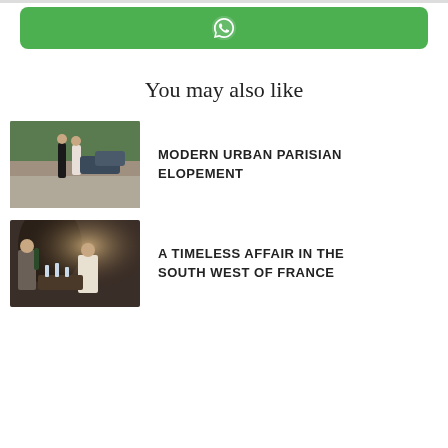[Figure (other): Green WhatsApp share button with WhatsApp logo icon]
You may also like
[Figure (photo): Couple standing on a cobblestone street in Paris, bride in white dress and groom in dark suit]
MODERN URBAN PARISIAN ELOPEMENT
[Figure (photo): Man pouring champagne for a woman at a wedding celebration in France]
A TIMELESS AFFAIR IN THE SOUTH WEST OF FRANCE